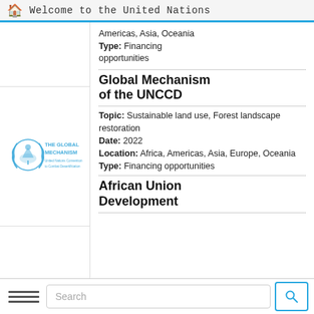Welcome to the United Nations
Americas, Asia, Oceania
Type: Financing opportunities
Global Mechanism of the UNCCD
Topic: Sustainable land use, Forest landscape restoration
Date: 2022
Location: Africa, Americas, Asia, Europe, Oceania
Type: Financing opportunities
African Union Development
[Figure (logo): The Global Mechanism logo — United Nations Convention to Combat Desertification, blue emblem with text THE GLOBAL MECHANISM and UN-style wreath icon]
Search